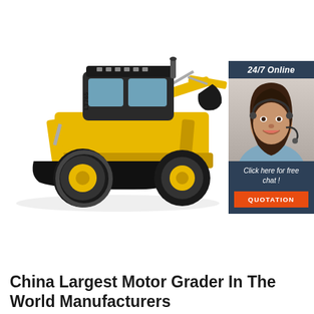[Figure (photo): Yellow backhoe loader (LT765) with front bucket and rear excavator arm on white background]
[Figure (infographic): 24/7 Online chat panel with dark blue background, photo of female customer service agent with headset, text 'Click here for free chat!' and orange QUOTATION button]
China Largest Motor Grader In The World Manufacturers